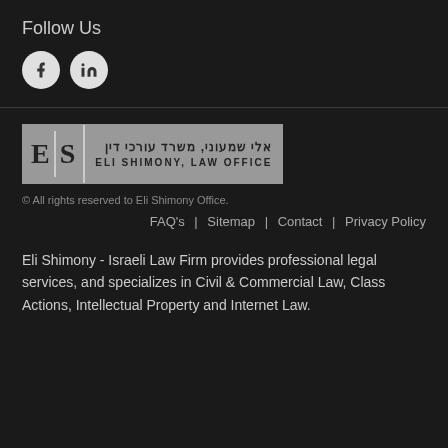Follow Us
[Figure (illustration): Social media icons: Facebook (f) and LinkedIn (in) as white circular buttons on dark background]
[Figure (logo): Eli Shimony Law Office logo with ES letters in grey box and Hebrew text אלי שמעוני, משרד עורכי דין alongside ELI SHIMONY, LAW OFFICE]
© All rights reserved to Eli Shimony Office.
FAQ's  |  Sitemap  |  Contact  |  Privacy Policy
Eli Shimony - Israeli Law Firm provides professional legal services, and specializes in Civil & Commercial Law, Class Actions, Intellectual Property and Internet Law.